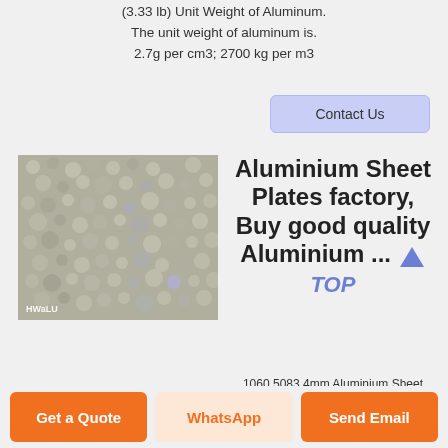(3.33 lb) Unit Weight of Aluminum. The unit weight of aluminum is. 2.7g per cm3; 2700 kg per m3
Contact Us
[Figure (photo): Close-up photo of a textured aluminium sheet with a stucco/hammered surface pattern, with 'HWaLU' watermark text in the lower left corner.]
Aluminium Sheet Plates factory, Buy good quality Aluminium ...
1060 5083 4mm Aluminium Sheet Plates Aluminum Sheet Metal 4x8. 6160 Billet Aluminium Sheet Cut To Size Bet...
Get a Quote
WhatsApp
Send Email